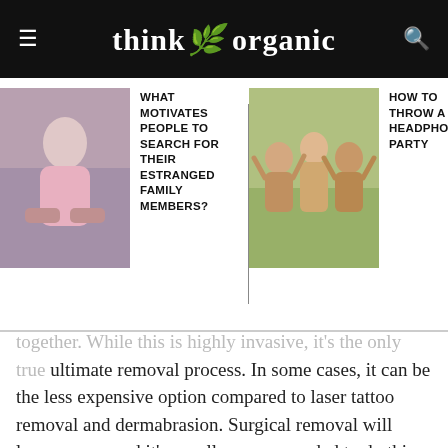think organic
[Figure (photo): Woman sitting cross-legged on bed with laptop]
WHAT MOTIVATES PEOPLE TO SEARCH FOR THEIR ESTRANGED FAMILY MEMBERS?
[Figure (photo): Group of people celebrating outdoors with arms raised]
HOW TO THROW A HEADPHONE PARTY
together. While this is highly invasive, it's the only true ultimate removal process. In some cases, it can be the less expensive option compared to laser tattoo removal and dermabrasion. Surgical removal will leave a scar, and it's usually recommended to do this with small tattoos.
Surgical removal is considered a cosmetic procedure, and insurance will likely not cover those costs. However, if you're experiencing tattoo regret, excision tattoo removal is among the more affordable options. The session can run on average between $150 and $350, depending on the size category that the tattoo fits in. It's important to look into the tattoo removal options at